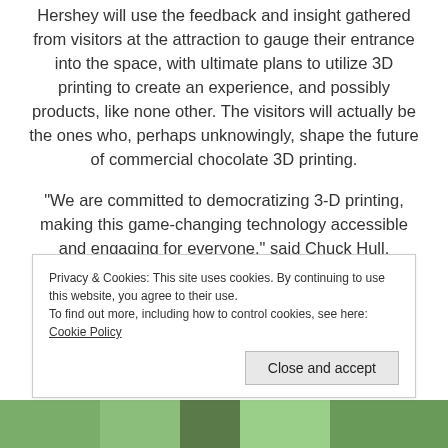Hershey will use the feedback and insight gathered from visitors at the attraction to gauge their entrance into the space, with ultimate plans to utilize 3D printing to create an experience, and possibly products, like none other. The visitors will actually be the ones who, perhaps unknowingly, shape the future of commercial chocolate 3D printing.
“We are committed to democratizing 3-D printing, making this game-changing technology accessible and engaging for everyone,” said Chuck Hull, Founder and Chief Technology Officer, 3D Systems. “Our partnership with Hershey, the largest producer of quality chocolate in North America and a global leader in chocolate and confections,
Privacy & Cookies: This site uses cookies. By continuing to use this website, you agree to their use. To find out more, including how to control cookies, see here: Cookie Policy
Close and accept
[Figure (photo): Partial image strip at the bottom of the page showing a colorful outdoor scene]